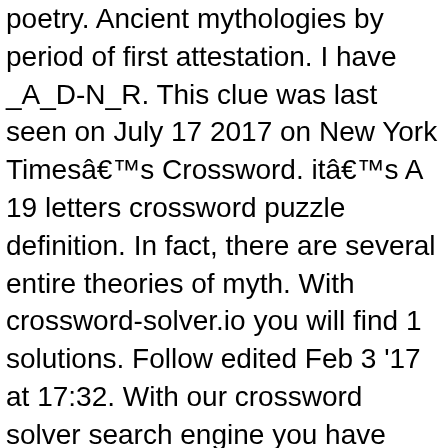poetry. Ancient mythologies by period of first attestation. I have _A_D-N_R. This clue was last seen on July 17 2017 on New York Timesâs Crossword. itâs A 19 letters crossword puzzle definition. In fact, there are several entire theories of myth. With crossword-solver.io you will find 1 solutions. Follow edited Feb 3 '17 at 17:32. With our crossword solver search engine you have access to over 7 million clues. Use the âCrossword Q & Aâ community to ask for help. We've been working hard on this Newsday crossword puzzle, and after gathering all of the other hints and relevant information concerning the clue Branch of mythology we've finally found the answer. ... Of all the letter games, crosswords are the only exercise that really allows you to have fun while improving your knowledge, ... for his entire major-league career. Crossword puzzle clues and possible answers. © 2020 Copyright: Odin is a quiet, brooding figure. was discovered last seen in the February 18 2021 at the Wall Street Journal Crossword. 10. This crossword